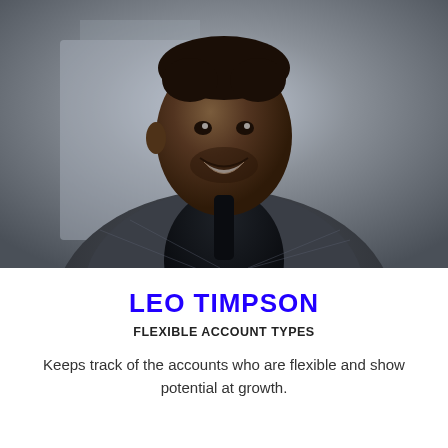[Figure (photo): Portrait photo of a smiling man in a dark grey plaid suit jacket and black turtleneck, photographed outdoors with blurred grey background]
LEO TIMPSON
FLEXIBLE ACCOUNT TYPES
Keeps track of the accounts who are flexible and show potential at growth.